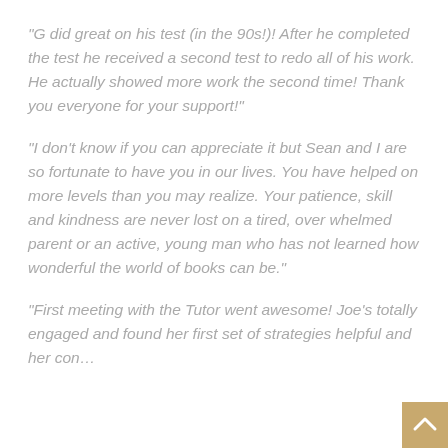“G did great on his test (in the 90s!)! After he completed the test he received a second test to redo all of his work. He actually showed more work the second time! Thank you everyone for your support!”
“I don’t know if you can appreciate it but Sean and I are so fortunate to have you in our lives. You have helped on more levels than you may realize. Your patience, skill and kindness are never lost on a tired, over whelmed parent or an active, young man who has not learned how wonderful the world of books can be.”
“First meeting with the Tutor went awesome! Joe’s totally engaged and found her first set of strategies helpful and her con…”